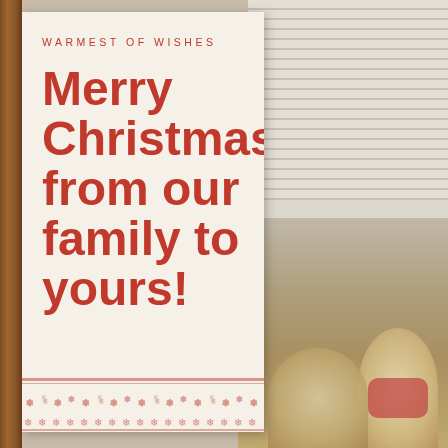[Figure (photo): Christmas greeting card with cream/beige background showing text overlaid on a photo of children on the right side, with wooden frame on left and window blinds visible in upper right]
WARMEST OF WISHES
Merry Christmas from our family to yours!